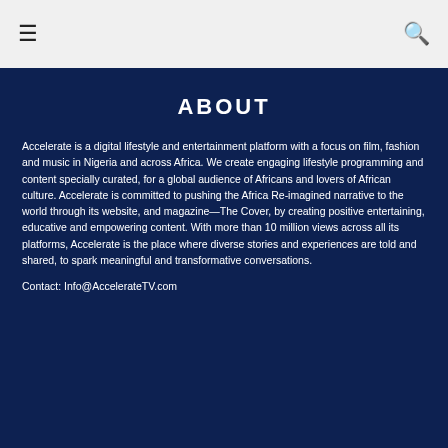☰   🔍
ABOUT
Accelerate is a digital lifestyle and entertainment platform with a focus on film, fashion and music in Nigeria and across Africa. We create engaging lifestyle programming and content specially curated, for a global audience of Africans and lovers of African culture. Accelerate is committed to pushing the Africa Re-imagined narrative to the world through its website, and magazine—The Cover, by creating positive entertaining, educative and empowering content. With more than 10 million views across all its platforms, Accelerate is the place where diverse stories and experiences are told and shared, to spark meaningful and transformative conversations.
Contact: Info@AccelerateTV.com